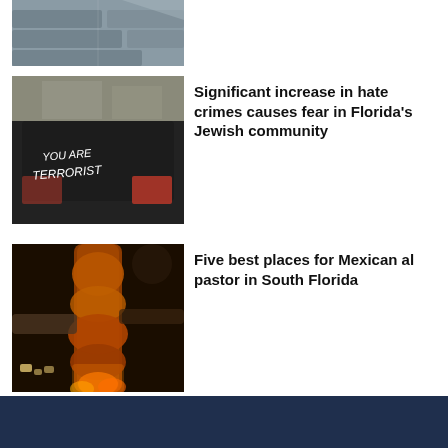[Figure (photo): Aerial view of rows of parked cars in a lot]
[Figure (photo): Black SUV with 'YOU ARE TERRORIST' written on rear window]
Significant increase in hate crimes causes fear in Florida's Jewish community
[Figure (photo): Person slicing al pastor meat from a vertical spit with flames visible]
Five best places for Mexican al pastor in South Florida